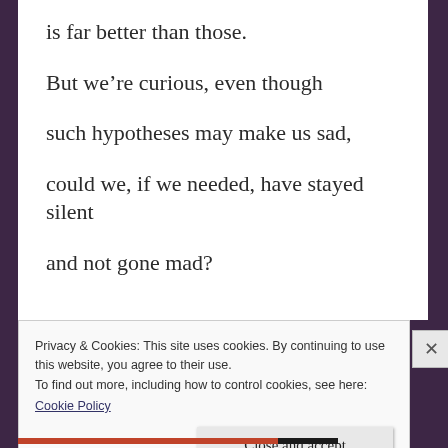is far better than those.
But we’re curious, even though
such hypotheses may make us sad,
could we, if we needed, have stayed silent
and not gone mad?
Privacy & Cookies: This site uses cookies. By continuing to use this website, you agree to their use.
To find out more, including how to control cookies, see here: Cookie Policy
Close and accept